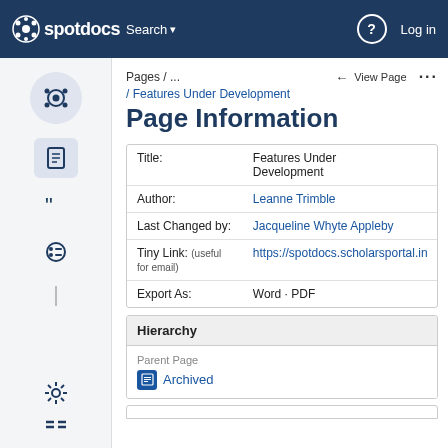spotdocs  Search  Log in
Pages / ...
/ Features Under Development
Page Information
| Field | Value |
| --- | --- |
| Title: | Features Under Development |
| Author: | Leanne Trimble |
| Last Changed by: | Jacqueline Whyte Appleby |
| Tiny Link: (useful for email) | https://spotdocs.scholarsportal.in |
| Export As: | Word · PDF |
Hierarchy
Parent Page
Archived